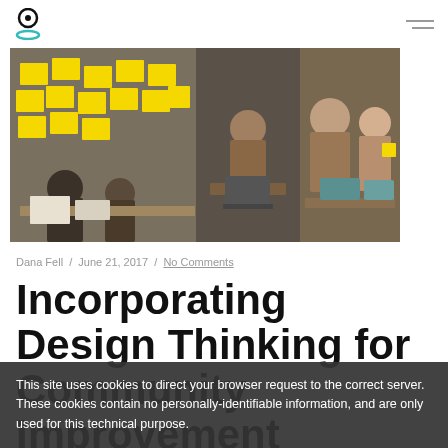[logo] [hamburger menu]
[Figure (photo): A wide photo showing people working at a design thinking workshop, with yellow sticky notes on a glass partition, people seated at tables working collaboratively in an office environment.]
Dana Fell  /  June 21, 2017  /  No Comments
Incorporating Design Thinking for Community Improvement
This site uses cookies to direct your browser request to the correct server. These cookies contain no personally-identifiable information, and are only used for this technical purpose.